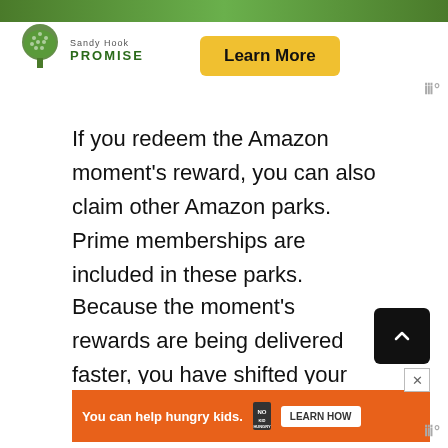[Figure (illustration): Sandy Hook Promise logo with tree icon and 'Learn More' yellow button, top advertisement banner]
If you redeem the Amazon moment's reward, you can also claim other Amazon parks. Prime memberships are included in these parks.
Because the moment's rewards are being delivered faster, you have shifted your rewards to categories of quick and easy gating rewards.
[Figure (illustration): No Kid Hungry advertisement banner: 'You can help hungry kids.' with LEARN HOW button]